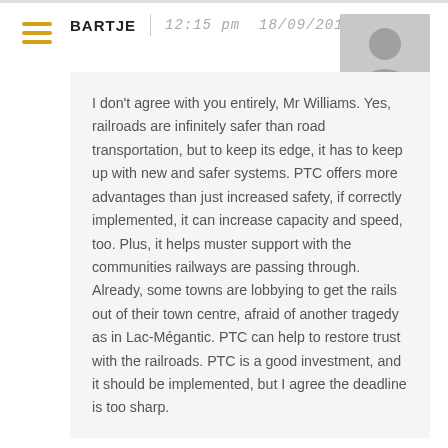[Figure (other): Hamburger menu icon with three horizontal orange/gold lines]
BARTJE   12:15 pm  18/09/2015
[Figure (photo): Grey placeholder avatar silhouette of a person]
I don't agree with you entirely, Mr Williams. Yes, railroads are infinitely safer than road transportation, but to keep its edge, it has to keep up with new and safer systems. PTC offers more advantages than just increased safety, if correctly implemented, it can increase capacity and speed, too. Plus, it helps muster support with the communities railways are passing through. Already, some towns are lobbying to get the rails out of their town centre, afraid of another tragedy as in Lac-Mégantic. PTC can help to restore trust with the railroads. PTC is a good investment, and it should be implemented, but I agree the deadline is too sharp.